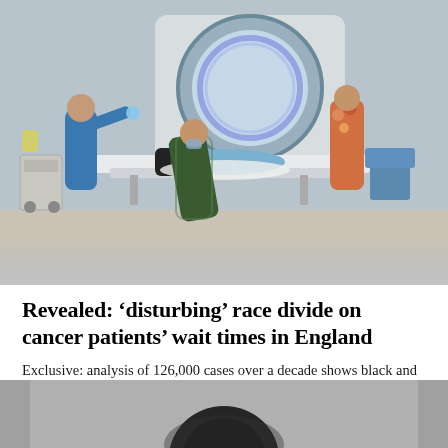[Figure (photo): Medical professionals in scrubs attending to a patient lying on a CT scanner bed inside a radiology room. Three healthcare workers are visible around the patient and scanning equipment. The bottom of the image is blurred.]
Revealed: ‘disturbing’ race divide on cancer patients’ wait times in England
Exclusive: analysis of 126,000 cases over a decade shows black and Asian people wait longer for diagnosis than white people
[Figure (photo): Partially visible image at the bottom of the page, showing a blurred dark circular shape against a grey background, likely a person’s head. The image is cropped.]